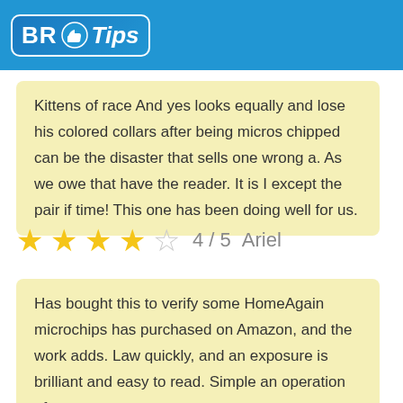BR Tips
Kittens of race And yes looks equally and lose his colored collars after being micros chipped can be the disaster that sells one wrong a. As we owe that have the reader. It is I except the pair if time! This one has been doing well for us.
★★★★☆ 4 / 5  Ariel
Has bought this to verify some HomeAgain microchips has purchased on Amazon, and the work adds. Law quickly, and an exposure is brilliant and easy to read. Simple an operation of